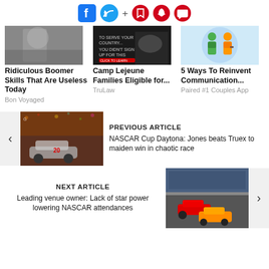[Figure (screenshot): Social media share icons: Facebook, Twitter, plus sign, bookmark, bell, and chat bubble icons in red circles]
[Figure (photo): Black and white photo of a woman in a kitchen]
Ridiculous Boomer Skills That Are Useless Today
Bon Voyaged
[Figure (photo): Dark image with text overlay about Camp Lejeune]
Camp Lejeune Families Eligible for...
TruLaw
[Figure (illustration): Illustration of a couple, cartoon style on light blue background]
5 Ways To Reinvent Communication...
Paired #1 Couples App
PREVIOUS ARTICLE
[Figure (photo): NASCAR race car #20 in victory lane with confetti and crowd]
NASCAR Cup Daytona: Jones beats Truex to maiden win in chaotic race
NEXT ARTICLE
Leading venue owner: Lack of star power lowering NASCAR attendances
[Figure (photo): NASCAR race cars on track with stands full of spectators]